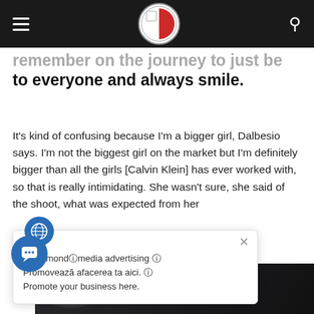[Navigation bar with hamburger menu, Malta logo, and search icon]
remember on the journey to just be nice to everyone and always smile.
It's kind of confusing because I'm a bigger girl, Dalbesio says. I'm not the biggest girl on the market but I'm definitely bigger than all the girls [Calvin Klein] has ever worked with, so that is really intimidating. She wasn't sure, she said of the shoot, what was expected from her ... of her was the same one: to take a beautiful picture.
mapamondⓘmedia advertising ⓘ
Promovează afacerea ta aici. ⓘ
Promote your business here.
[Figure (photo): Dark background photo at the bottom of the page, showing smoke or wispy white shapes against a dark/black background]